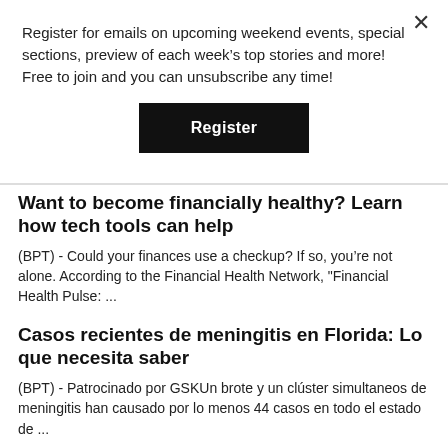Register for emails on upcoming weekend events, special sections, preview of each week's top stories and more! Free to join and you can unsubscribe any time!
Register
Want to become financially healthy? Learn how tech tools can help
(BPT) - Could your finances use a checkup? If so, you're not alone. According to the Financial Health Network, "Financial Health Pulse: ...
Casos recientes de meningitis en Florida: Lo que necesita saber
(BPT) - Patrocinado por GSKUn brote y un clúster simultaneos de meningitis han causado por lo menos 44 casos en todo el estado de ...
Cuestionario de regreso a clases para los padres: